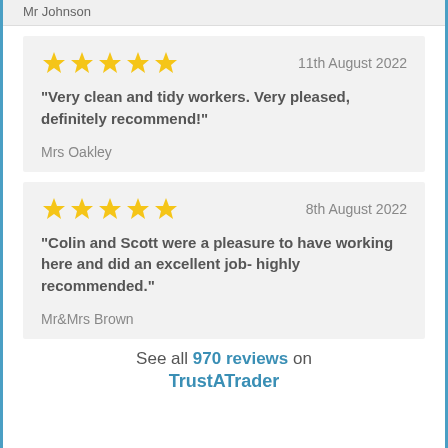Mr Johnson
★★★★★  11th August 2022
"Very clean and tidy workers. Very pleased, definitely recommend!"
Mrs Oakley
★★★★★  8th August 2022
"Colin and Scott were a pleasure to have working here and did an excellent job- highly recommended."
Mr&Mrs Brown
See all 970 reviews on TrustATrader